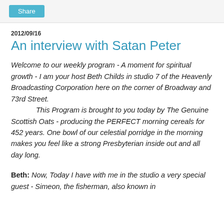Share
2012/09/16
An interview with Satan Peter
Welcome to our weekly program - A moment for spiritual growth - I am your host Beth Childs in studio 7 of the Heavenly Broadcasting Corporation here on the corner of Broadway and 73rd Street. This Program is brought to you today by The Genuine Scottish Oats - producing the PERFECT morning cereals for 452 years. One bowl of our celestial porridge in the morning makes you feel like a strong Presbyterian inside out and all day long.
Beth: Now, Today I have with me in the studio a very special guest - Simeon, the fisherman, also known in